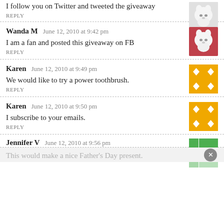I follow you on Twitter and tweeted the giveaway
REPLY
Wanda M   June 12, 2010 at 9:42 pm
I am a fan and posted this giveaway on FB
REPLY
Karen   June 12, 2010 at 9:49 pm
We would like to try a power toothbrush.
REPLY
Karen   June 12, 2010 at 9:50 pm
I subscribe to your emails.
REPLY
Jennifer V   June 12, 2010 at 9:56 pm
This would make a nice Father's Day present.